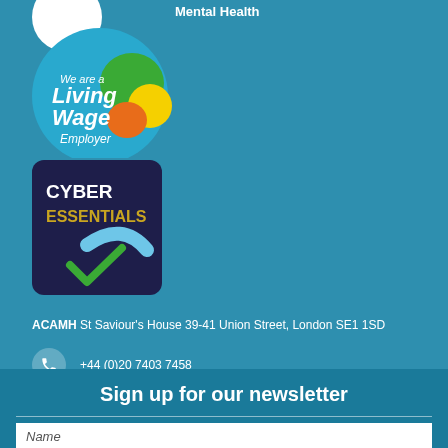Mental Health
[Figure (logo): Living Wage Employer badge — circular badge with blue background, text 'We are a Living Wage Employer' with green, yellow and orange circle accents]
[Figure (logo): Cyber Essentials badge — dark navy rounded square badge with 'CYBER ESSENTIALS' text in white and gold, with a checkmark icon in green and blue]
ACAMH St Saviour's House 39-41 Union Street, London SE1 1SD
+44 (0)20 7403 7458
membership@acamh.org
Sign up for our newsletter
Name